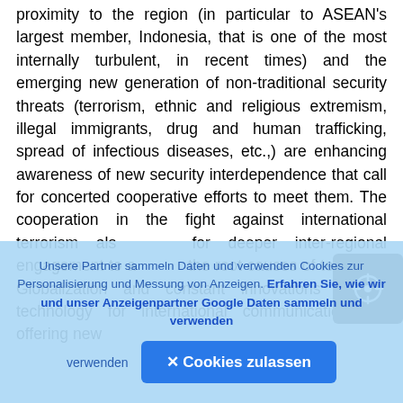proximity to the region (in particular to ASEAN's largest member, Indonesia, that is one of the most internally turbulent, in recent times) and the emerging new generation of non-traditional security threats (terrorism, ethnic and religious extremism, illegal immigrants, drug and human trafficking, spread of infectious diseases, etc.,) are enhancing awareness of new security interdependence that call for concerted cooperative efforts to meet them. The cooperation in the fight against international terrorism also calls for deeper inter-regional engagement to address the root causes of terrorism. Globalization and constant innovations in the technology for international communication are offering new
Unsere Partner sammeln Daten und verwenden Cookies zur Personalisierung und Messung von Anzeigen. Erfahren Sie, wie wir und unser Anzeigenpartner Google Daten sammeln und verwenden
✕ Cookies zulassen